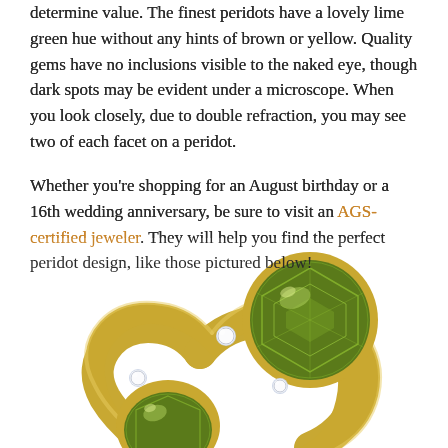determine value. The finest peridots have a lovely lime green hue without any hints of brown or yellow. Quality gems have no inclusions visible to the naked eye, though dark spots may be evident under a microscope. When you look closely, due to double refraction, you may see two of each facet on a peridot.
Whether you're shopping for an August birthday or a 16th wedding anniversary, be sure to visit an AGS-certified jeweler. They will help you find the perfect peridot design, like those pictured below!
[Figure (photo): A gold ring with two large round peridot (lime green) gemstones in bezel settings, accented with small round diamonds set into the band.]